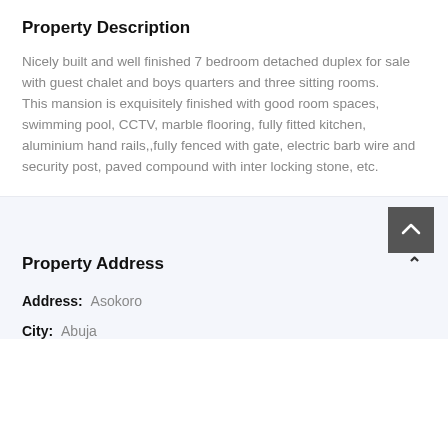Property Description
Nicely built and well finished 7 bedroom detached duplex for sale with guest chalet and boys quarters and three sitting rooms.
This mansion is exquisitely finished with good room spaces, swimming pool, CCTV, marble flooring, fully fitted kitchen, aluminium hand rails,,fully fenced with gate, electric barb wire and security post, paved compound with inter locking stone, etc.
Property Address
Address: Asokoro
City: Abuja